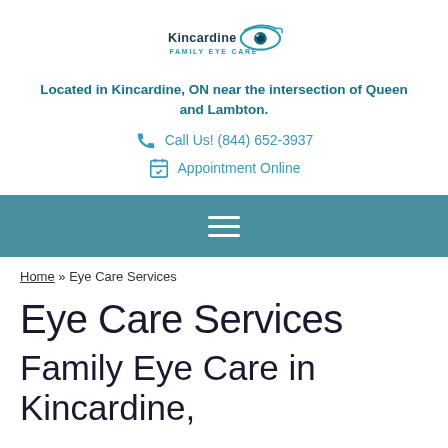[Figure (logo): Kincardine Family Eye Care logo with teal eye graphic and text]
Located in Kincardine, ON near the intersection of Queen and Lambton.
Call Us! (844) 652-3937
Appointment Online
[Figure (other): Teal navigation bar with hamburger menu icon]
Home » Eye Care Services
Eye Care Services
Family Eye Care in Kincardine,